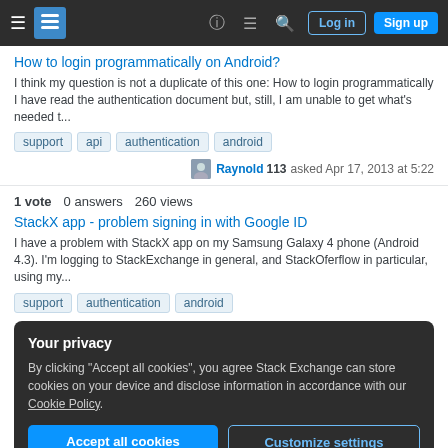Stack Exchange navigation bar with Log in and Sign up buttons
How to login programmatically on Android?
I think my question is not a duplicate of this one: How to login programmatically I have read the authentication document but, still, I am unable to get what's needed t...
support  api  authentication  android
Raynold 113 asked Apr 17, 2013 at 5:22
1 vote  0 answers  260 views
StackX app - problem signing in with Google ID
I have a problem with StackX app on my Samsung Galaxy 4 phone (Android 4.3). I'm logging to StackExchange in general, and StackOferflow in particular, using my...
support  authentication  android
Your privacy
By clicking "Accept all cookies", you agree Stack Exchange can store cookies on your device and disclose information in accordance with our Cookie Policy.
Accept all cookies  Customize settings